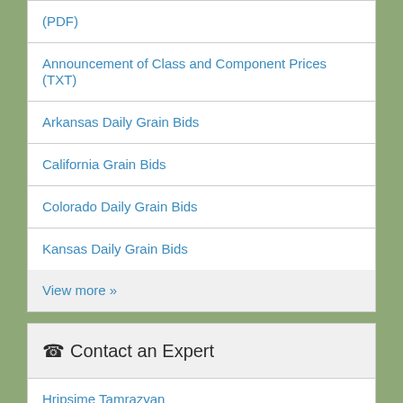(PDF)
Announcement of Class and Component Prices (TXT)
Arkansas Daily Grain Bids
California Grain Bids
Colorado Daily Grain Bids
Kansas Daily Grain Bids
View more »
☎ Contact an Expert
Hripsime Tamrazyan
Jessica Newsome
Joshua McNeff
Kerry Siekmann